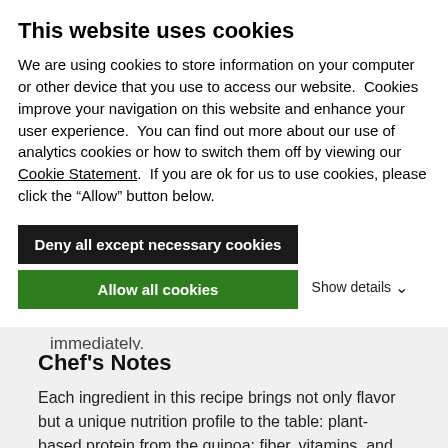This website uses cookies
We are using cookies to store information on your computer or other device that you use to access our website.  Cookies improve your navigation on this website and enhance your user experience.  You can find out more about our use of analytics cookies or how to switch them off by viewing our Cookie Statement.  If you are ok for us to use cookies, please click the “Allow” button below.
Deny all except necessary cookies
Allow all cookies
Show details ⌄
container, and secure the lid. Select Variable 4 and pulse 6 to 8 times to incorporate. Serve immediately.
Chef’s Notes
Each ingredient in this recipe brings not only flavor but a unique nutrition profile to the table: plant-based protein from the quinoa; fiber, vitamins, and minerals from the veggies. Each ingredient is loaded with fiber, antioxidants, vitamins, and minerals